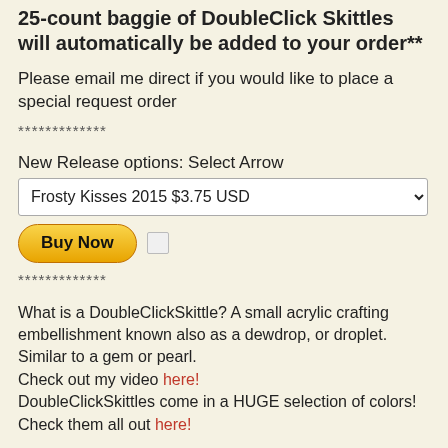25-count baggie of DoubleClick Skittles will automatically be added to your order**
Please email me direct if you would like to place a special request order
*************
New Release options: Select Arrow
Frosty Kisses 2015 $3.75 USD
[Figure (screenshot): Buy Now button (yellow rounded) with a small checkbox square next to it]
*************
What is a DoubleClickSkittle? A small acrylic crafting embellishment known also as a dewdrop, or droplet. Similar to a gem or pearl.
Check out my video here!
DoubleClickSkittles come in a HUGE selection of colors!
Check them all out here!